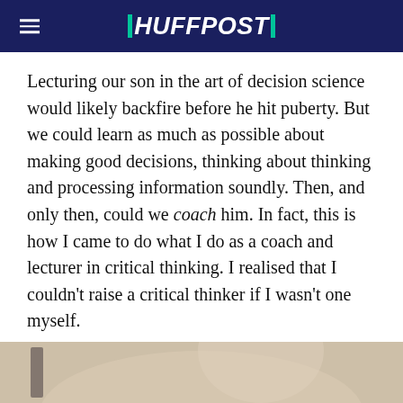HUFFPOST
Lecturing our son in the art of decision science would likely backfire before he hit puberty. But we could learn as much as possible about making good decisions, thinking about thinking and processing information soundly. Then, and only then, could we coach him. In fact, this is how I came to do what I do as a coach and lecturer in critical thinking. I realised that I couldn't raise a critical thinker if I wasn't one myself.
BEFORE YOU GO
[Figure (photo): Partial photo of a person, bottom portion of page]